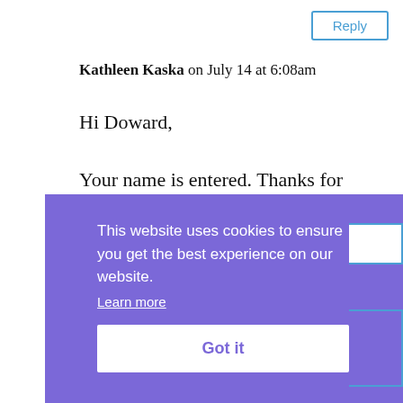[Figure (screenshot): Reply button in top right corner, blue outlined button with text 'Reply']
Kathleen Kaska on July 14 at 6:08am
Hi Doward,

Your name is entered. Thanks for stopping by.
This website uses cookies to ensure you get the best experience on our website. Learn more

Got it